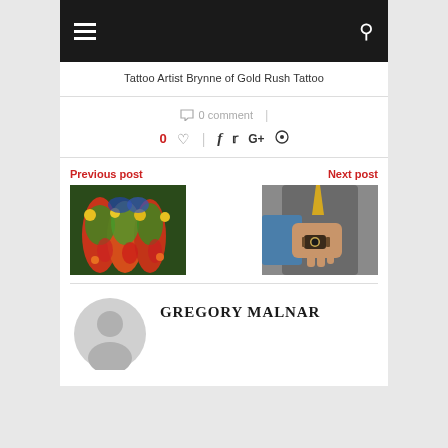Navigation bar with hamburger menu and search icon
Tattoo Artist Brynne of Gold Rush Tattoo
0 comment
0 ♡  |  f  t  G+  ⊕
Previous post
[Figure (photo): Colorful tattoo sleeve on arm with floral and butterfly designs in bright green, red, yellow colors]
Next post
[Figure (photo): Man in grey vest and blue shirt adjusting watch on wrist, wearing brown leather watch]
GREGORY MALNAR
[Figure (illustration): Grey placeholder avatar circle silhouette for author profile picture]